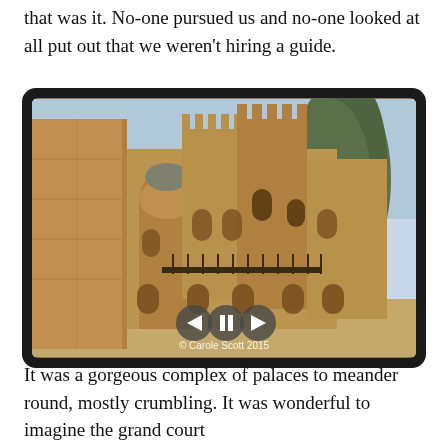that was it. No-one pursued us and no-one looked at all put out that we weren't hiring a guide.
[Figure (photo): A historic stone castle complex with towers, arched windows and balconies, a large tree on the right, and a tall stone wall close-up on the left. Navigation controls (back, pause, forward) overlay the bottom center. Copyright text reads '© Carole Scott 2015'.]
It was a gorgeous complex of palaces to meander round, mostly crumbling. It was wonderful to imagine the grand court